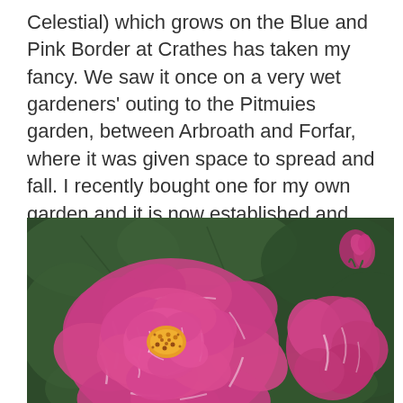Celestial) which grows on the Blue and Pink Border at Crathes has taken my fancy. We saw it once on a very wet gardeners' outing to the Pitmuies garden, between Arbroath and Forfar, where it was given space to spread and fall. I recently bought one for my own garden and it is now established and giving great pleasure, though just now sodden with rain like the one at Pitmuies.
[Figure (photo): Close-up photograph of pink and white striped roses in bloom, with green foliage in the background. The main flower is fully open showing yellow stamens, with a second rose bud visible to the right.]